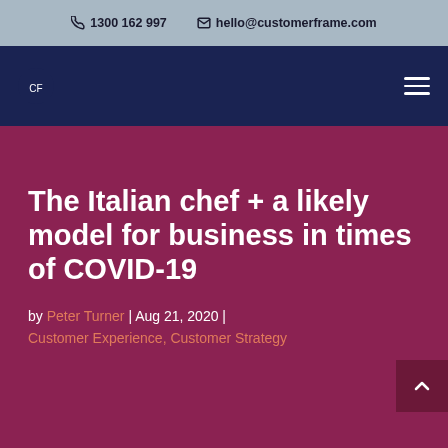1300 162 997   hello@customerframe.com
The Italian chef + a likely model for business in times of COVID-19
by Peter Turner | Aug 21, 2020 | Customer Experience, Customer Strategy